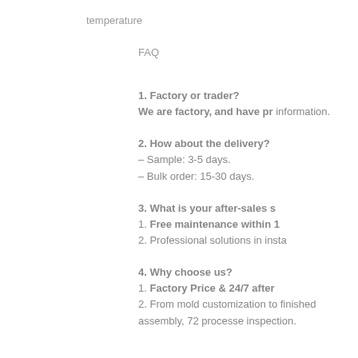temperature
FAQ
1. Factory or trader?
We are factory, and have pr information.
2. How about the delivery?
– Sample: 3-5 days.
– Bulk order: 15-30 days.
3. What is your after-sales s 1. Free maintenance within 1 2. Professional solutions in insta
4. Why choose us?
1. Factory Price & 24/7 after 2. From mold customization to finished assembly, 72 processe inspection.